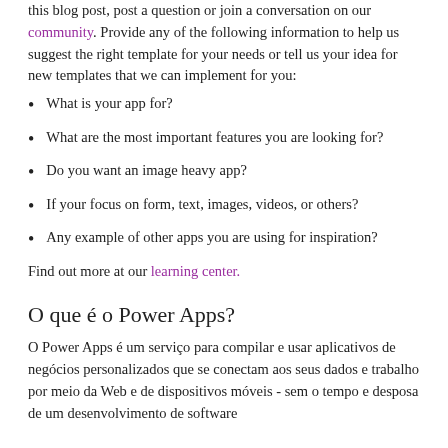this blog post, post a question or join a conversation on our community. Provide any of the following information to help us suggest the right template for your needs or tell us your idea for new templates that we can implement for you:
What is your app for?
What are the most important features you are looking for?
Do you want an image heavy app?
If your focus on form, text, images, videos, or others?
Any example of other apps you are using for inspiration?
Find out more at our learning center.
O que é o Power Apps?
O Power Apps é um serviço para compilar e usar aplicativos de negócios personalizados que se conectam aos seus dados e trabalho por meio da Web e de dispositivos móveis - sem o tempo e desposa de um desenvolvimento de software